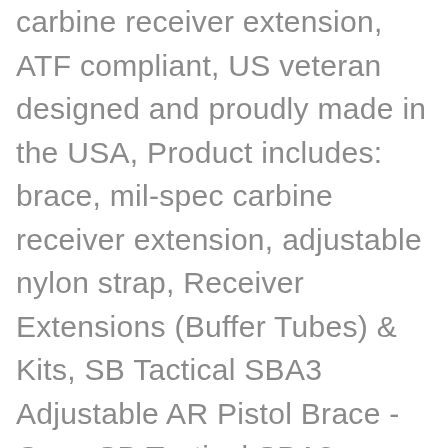carbine receiver extension, ATF compliant, US veteran designed and proudly made in the USA, Product includes:  brace, mil-spec carbine receiver extension, adjustable nylon strap, Receiver Extensions (Buffer Tubes) & Kits, SB Tactical SBA3 Adjustable AR Pistol Brace - Gray, SB Tactical SBA3 Adjustable AR Pistol Brace - OD Green, SB Tactical SBA3 Adjustable AR Pistol Brace - FDE, SB Tactical Remington TAC13-SBA3 12ga Pistol Stabilizing Brace